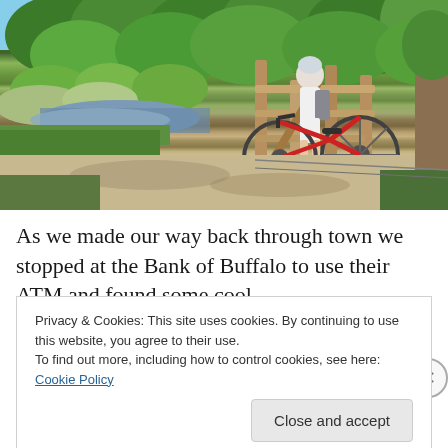[Figure (photo): Outdoor scene with a cyclist/person with a bicycle standing at a wooden gate or fence along a dirt trail. Green trees with lush foliage in background, a small stream or creek visible on the left, sandy/dirt path in the foreground with dappled shadows.]
As we made our way back through town we stopped at the Bank of Buffalo to use their ATM and found some cool
Privacy & Cookies: This site uses cookies. By continuing to use this website, you agree to their use.
To find out more, including how to control cookies, see here: Cookie Policy
Close and accept